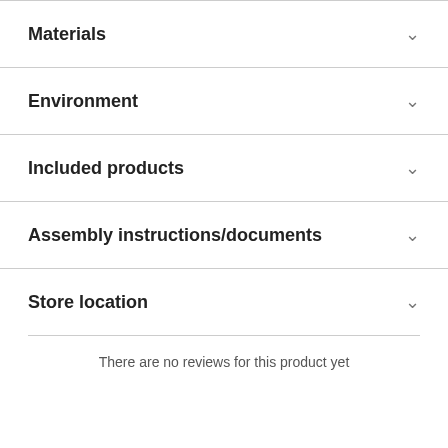Materials
Environment
Included products
Assembly instructions/documents
Store location
There are no reviews for this product yet